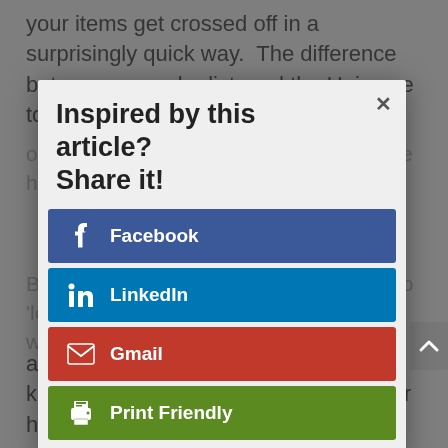your items get crossed off in a surprisingly quick way.  The difference between a regular list, and the Universe to Do list is the element of 'if it doesn't happen, then it's not for the highest good.
[Figure (screenshot): A social sharing modal popup with title 'Inspired by this article? Share it!' and four share buttons: Facebook (dark blue), LinkedIn (light blue), Gmail (red), Print Friendly (green). An X close button is in the top right corner of the modal.]
Because of this disclaimer, it allows me to 'let go' of the outcome in an emotional way.  This can be really helpful when it comes to creating a list which includes those I love.  When my family are struggling, I am able to write a list for the Universe To Do for them.  This helps with removing my feelings of anxiety, worry and concern for them.  I know whatever happens will be for their highest